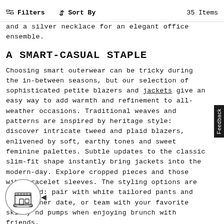Filters   Sort By   35 Items
and a silver necklace for an elegant office ensemble.
A SMART-CASUAL STAPLE
Choosing smart outerwear can be tricky during the in-between seasons, but our selection of sophisticated petite blazers and jackets give an easy way to add warmth and refinement to all-weather occasions. Traditional weaves and patterns are inspired by heritage style: discover intricate tweed and plaid blazers, enlivened by soft, earthy tones and sweet feminine palettes. Subtle updates to the classic slim-fit shape instantly bring jackets into the modern-day. Explore cropped pieces and those with bracelet sleeves. The styling options are unlimited: pair with white tailored pants and heels inner date, or team with your favorite skinny nd pumps when enjoying brunch with friends.